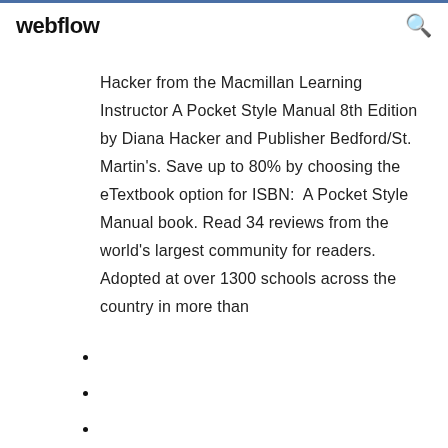webflow
Hacker from the Macmillan Learning Instructor A Pocket Style Manual 8th Edition by Diana Hacker and Publisher Bedford/St. Martin's. Save up to 80% by choosing the eTextbook option for ISBN:  A Pocket Style Manual book. Read 34 reviews from the world's largest community for readers. Adopted at over 1300 schools across the country in more than